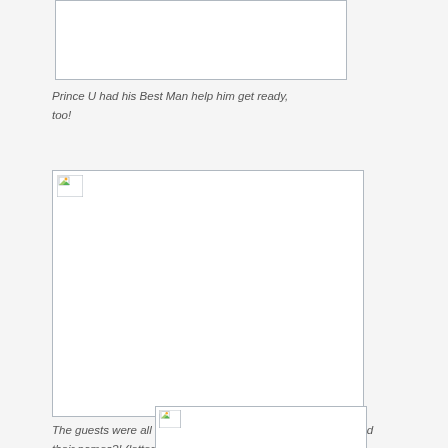[Figure (photo): Partially visible image placeholder at top of page]
Prince U had his Best Man help him get ready, too!
[Figure (photo): Large image placeholder with broken image icon in upper left]
The guests were all invited from 'Alphabet Town'! Can you read their names?! (letters?!)
[Figure (photo): Partially visible image placeholder at bottom of page]